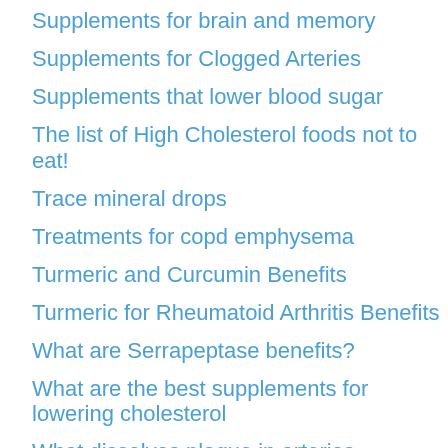Supplements for brain and memory
Supplements for Clogged Arteries
Supplements that lower blood sugar
The list of High Cholesterol foods not to eat!
Trace mineral drops
Treatments for copd emphysema
Turmeric and Curcumin Benefits
Turmeric for Rheumatoid Arthritis Benefits
What are Serrapeptase benefits?
What are the best supplements for lowering cholesterol
What dissolves plaque in arteries
What does cholesterol do?
What does Vitamin D3 help?
What foods to lower cholesterol naturally?